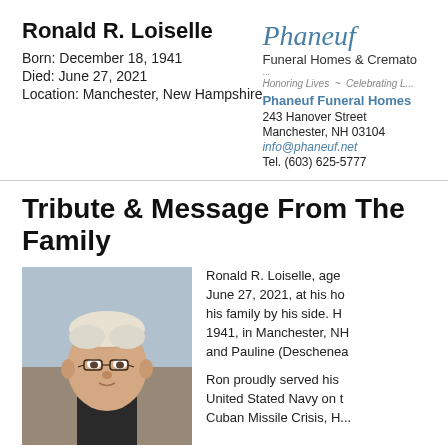Ronald R. Loiselle
Born: December 18, 1941
Died: June 27, 2021
Location: Manchester, New Hampshire
[Figure (logo): Phaneuf Funeral Homes & Crematorium logo with italic script and tagline 'Honoring Lives ~ Celebrating Life']
Phaneuf Funeral Homes
243 Hanover Street
Manchester, NH 03104
info@phaneuf.net
Tel. (603) 625-5777
Tribute & Message From The Family
[Figure (photo): Portrait photo of an elderly man with white hair and glasses, wearing a dark jacket]
Ronald R. Loiselle, age... June 27, 2021, at his ho... his family by his side. H... 1941, in Manchester, NH... and Pauline (Deschenea...

Ron proudly served his... United Stated Navy on t... Cuban Missile Crisis, H...